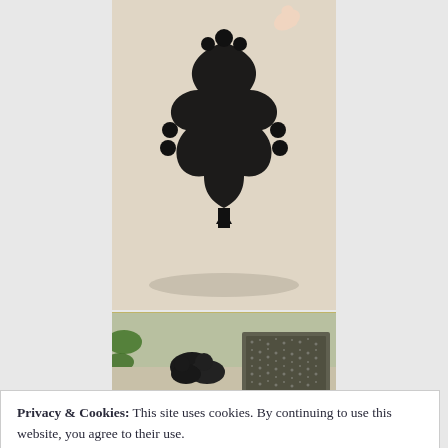[Figure (photo): Top photo: A hand touching a large decorative ornate black shape (like a stamp or craft template) placed on a light paper surface.]
[Figure (photo): Bottom strip photo: Small black clay or rubber objects on a surface next to a rectangular textured tile or stamp with intricate pattern.]
Privacy & Cookies: This site uses cookies. By continuing to use this website, you agree to their use.
To find out more, including how to control cookies, see here: Cookie Policy
Close and accept